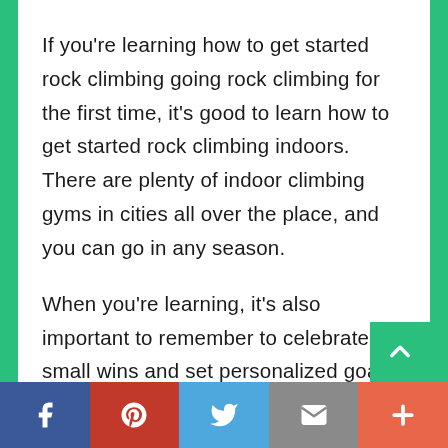If you're learning how to get started rock climbing going rock climbing for the first time, it's good to learn how to get started rock climbing indoors. There are plenty of indoor climbing gyms in cities all over the place, and you can go in any season.

When you're learning, it's also important to remember to celebrate the small wins and set personalized goals. This will help you get frustrated much less because
Social share bar: Facebook, Pinterest, Twitter, Email, More